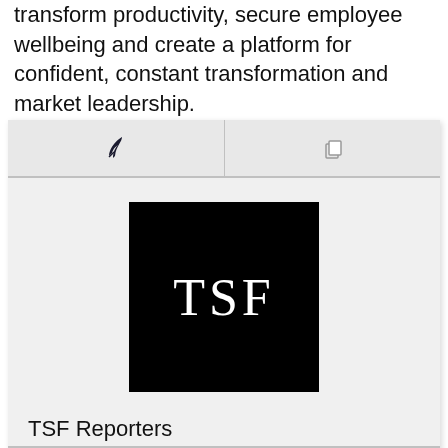transform productivity, secure employee wellbeing and create a platform for confident, constant transformation and market leadership.
[Figure (logo): TSF logo — black square with white serif letters 'TSF' centered]
TSF Reporters
The Successful Founder Magazine is the go to feature-rich magazine for founders on all stages of their entrepreneurship journey .